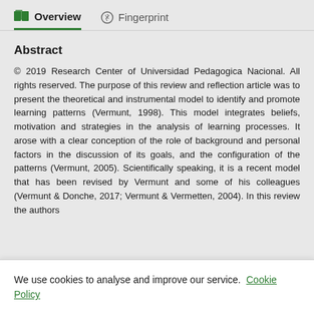Overview   Fingerprint
Abstract
© 2019 Research Center of Universidad Pedagogica Nacional. All rights reserved. The purpose of this review and reflection article was to present the theoretical and instrumental model to identify and promote learning patterns (Vermunt, 1998). This model integrates beliefs, motivation and strategies in the analysis of learning processes. It arose with a clear conception of the role of background and personal factors in the discussion of its goals, and the configuration of the patterns (Vermunt, 2005). Scientifically speaking, it is a recent model that has been revised by Vermunt and some of his colleagues (Vermunt & Donche, 2017; Vermunt & Vermetten, 2004). In this review the authors
We use cookies to analyse and improve our service. Cookie Policy